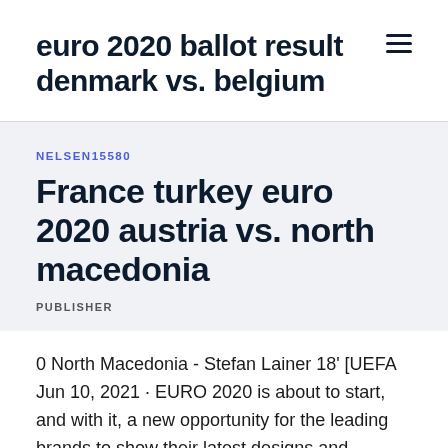euro 2020 ballot result denmark vs. belgium
NELSEN15580
France turkey euro 2020 austria vs. north macedonia
PUBLISHER
0 North Macedonia - Stefan Lainer 18' [UEFA Jun 10, 2021 · EURO 2020 is about to start, and with it, a new opportunity for the leading brands to show their latest designs and creations. Out of 24 national teams, Adidas